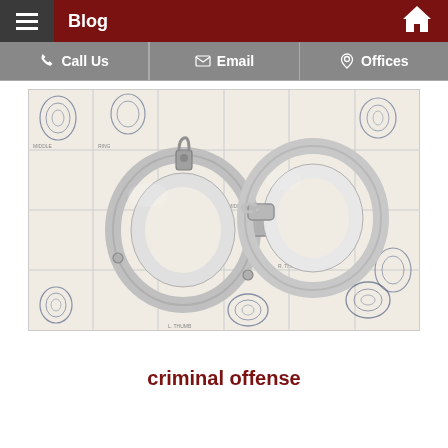Blog
Call Us | Email | Offices
[Figure (photo): Handcuffs resting on a fingerprint identification card with multiple inked fingerprints visible]
criminal offense